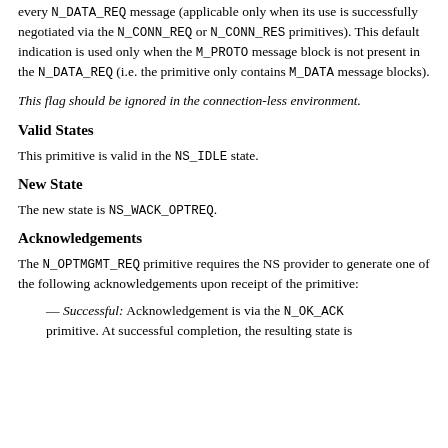every N_DATA_REQ message (applicable only when its use is successfully negotiated via the N_CONN_REQ or N_CONN_RES primitives). This default indication is used only when the M_PROTO message block is not present in the N_DATA_REQ (i.e. the primitive only contains M_DATA message blocks).
This flag should be ignored in the connection-less environment.
Valid States
This primitive is valid in the NS_IDLE state.
New State
The new state is NS_WACK_OPTREQ.
Acknowledgements
The N_OPTMGMT_REQ primitive requires the NS provider to generate one of the following acknowledgements upon receipt of the primitive:
— Successful: Acknowledgement is via the N_OK_ACK primitive. At successful completion, the resulting state is